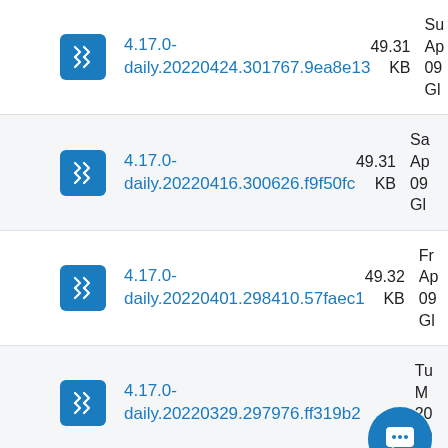4.17.0-daily.20220424.301767.9ea8e13 49.31 KB Su Apr 09 Gl
4.17.0-daily.20220416.300626.f9f50fc 49.31 KB Sa Apr 09 Gl
4.17.0-daily.20220401.298410.57faec1 49.32 KB Fr Apr 09 Gl
4.17.0-daily.20220329.297976.ff319b2 KB Tu M 20 09